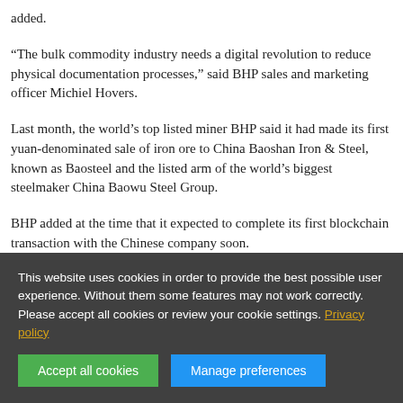added.
“The bulk commodity industry needs a digital revolution to reduce physical documentation processes,” said BHP sales and marketing officer Michiel Hovers.
Last month, the world’s top listed miner BHP said it had made its first yuan-denominated sale of iron ore to China Baoshan Iron & Steel, known as Baosteel and the listed arm of the world’s biggest steelmaker China Baowu Steel Group.
BHP added at the time that it expected to complete its first blockchain transaction with the Chinese company soon.
This website uses cookies in order to provide the best possible user experience. Without them some features may not work correctly. Please accept all cookies or review your cookie settings. Privacy policy